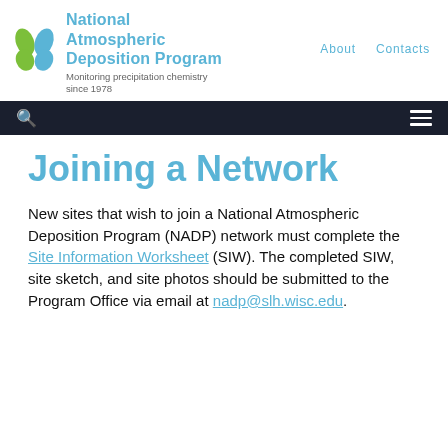National Atmospheric Deposition Program — Monitoring precipitation chemistry since 1978 — About | Contacts
Joining a Network
New sites that wish to join a National Atmospheric Deposition Program (NADP) network must complete the Site Information Worksheet (SIW). The completed SIW, site sketch, and site photos should be submitted to the Program Office via email at nadp@slh.wisc.edu.